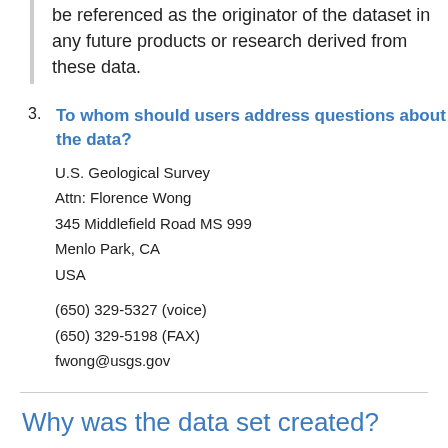be referenced as the originator of the dataset in any future products or research derived from these data.
3. To whom should users address questions about the data?
U.S. Geological Survey
Attn: Florence Wong
345 Middlefield Road MS 999
Menlo Park, CA
USA
(650) 329-5327 (voice)
(650) 329-5198 (FAX)
fwong@usgs.gov
Why was the data set created?
This remote sensing image of the seafloor is 19 of 30 mosaics created from the Bering Sea U.S.